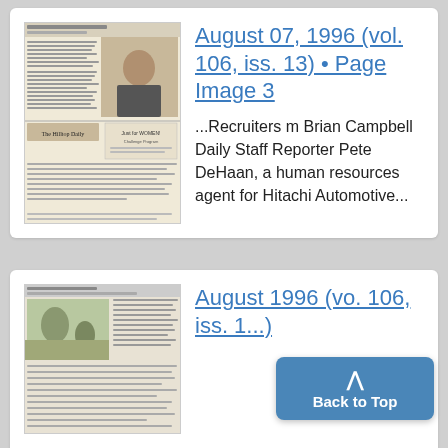[Figure (screenshot): Thumbnail of a newspaper page from August 07, 1996, showing columns of text and a photo of a man in a suit, with 'The Hilltop Daily' masthead and an advertisement for 'Just for WOMEN! Challenge Program']
August 07, 1996 (vol. 106, iss. 13) • Page Image 3
...Recruiters m Brian Campbell Daily Staff Reporter Pete DeHaan, a human resources agent for Hitachi Automotive...
[Figure (screenshot): Thumbnail of a second newspaper page from August 1996, showing columns of text and a photo of people outdoors]
August 1996 (vo. 106, iss. 1...)